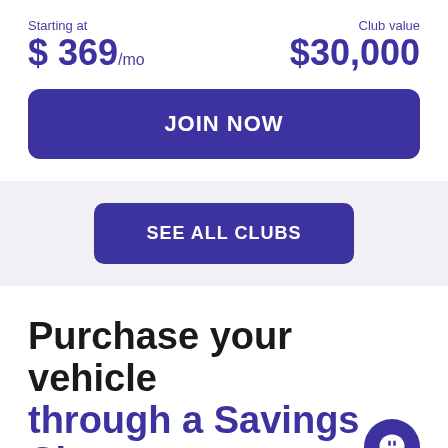Starting at $ 369/mo
Club value $30,000
JOIN NOW
SEE ALL CLUBS
Purchase your vehicle through a Savings Club